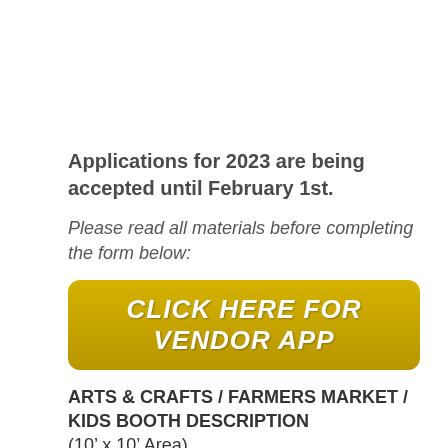Applications for 2023 are being accepted until February 1st.
Please read all materials before completing the form below:
[Figure (other): Yellow rounded button with white bold italic text: CLICK HERE FOR VENDOR APP]
ARTS & CRAFTS / FARMERS MARKET / KIDS BOOTH DESCRIPTION
(10’ x 10’ Area)
ELIGIBILITY
Arts & Crafts exhibitors must be the originator of